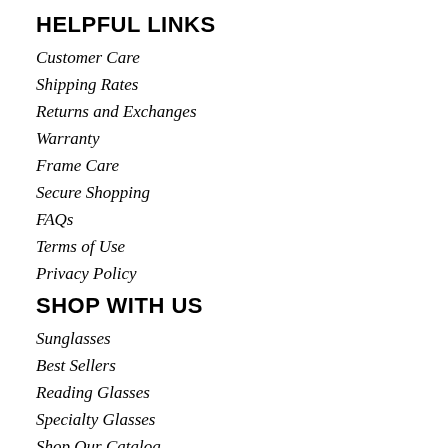HELPFUL LINKS
Customer Care
Shipping Rates
Returns and Exchanges
Warranty
Frame Care
Secure Shopping
FAQs
Terms of Use
Privacy Policy
SHOP WITH US
Sunglasses
Best Sellers
Reading Glasses
Specialty Glasses
Shop Our Catalog
Browse By...